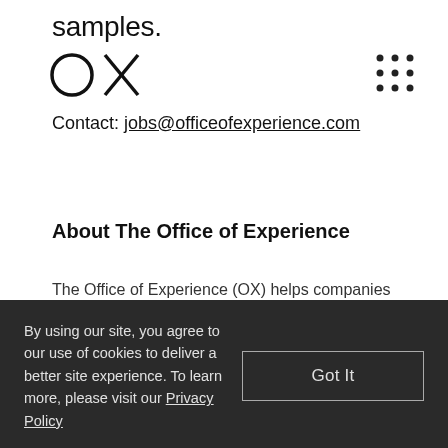samples.
[Figure (logo): OX logo mark — circle and X letterforms]
Contact: jobs@officeofexperience.com
[Figure (other): 3x3 dots grid icon]
About The Office of Experience
The Office of Experience (OX) helps companies excel at every point of contact with their customers. By integrating strategy, design and technology, we ensure that the brands and experiences of our clients operate as one, uniting expectation and reality to create value. Together, we make thoughtful plans, design critical moments, and bring them to market. In an era
By using our site, you agree to our use of cookies to deliver a better site experience. To learn more, please visit our Privacy Policy